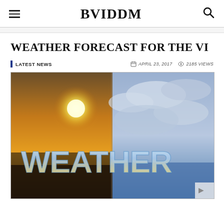BVIDDM
WEATHER FORECAST FOR THE VI
LATEST NEWS   APRIL 23, 2017   2185 VIEWS
[Figure (photo): Weather forecast image showing split sky — left side with warm sunset and sun, right side with blue cloudy sky — with large text 'WEATHER' overlaid in metallic blue letters]